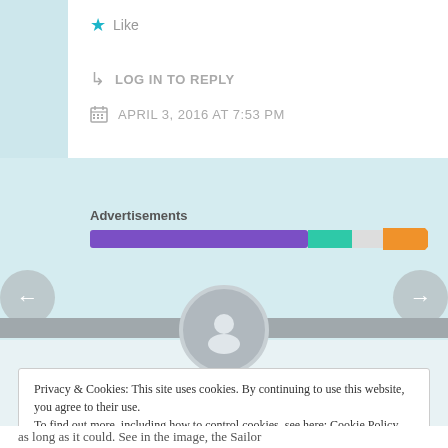Like
LOG IN TO REPLY
APRIL 3, 2016 AT 7:53 PM
Advertisements
[Figure (infographic): A horizontal progress/loading bar with purple, teal, and orange segments on a light grey background]
Privacy & Cookies: This site uses cookies. By continuing to use this website, you agree to their use.
To find out more, including how to control cookies, see here: Cookie Policy
Close and accept
as long as it could. See in the image, the Sailor